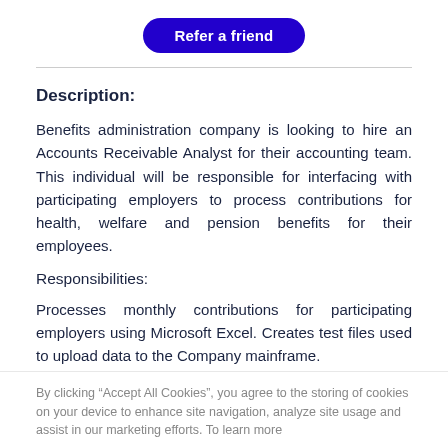[Figure (other): Blue rounded rectangle button labeled 'Refer a friend' in white bold text]
Description:
Benefits administration company is looking to hire an Accounts Receivable Analyst for their accounting team. This individual will be responsible for interfacing with participating employers to process contributions for health, welfare and pension benefits for their employees.
Responsibilities:
Processes monthly contributions for participating employers using Microsoft Excel. Creates test files used to upload data to the Company mainframe. [continues below]
By clicking “Accept All Cookies”, you agree to the storing of cookies on your device to enhance site navigation, analyze site usage and assist in our marketing efforts. To learn more